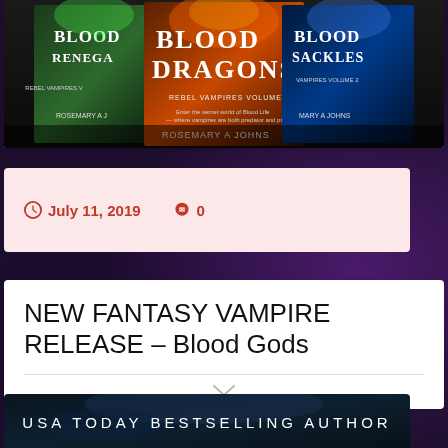[Figure (photo): Three book covers for the Rebel Vampires series by Rosemary A Johns: Blood Renegades, Blood Dragons (Volume 1), and Blood Shackles (Volume 2)]
July 11, 2019   0
NEW FANTASY VAMPIRE RELEASE – Blood Gods
[Figure (photo): Bottom portion of a book cover showing 'USA TODAY BESTSELLING AUTHOR' text on a dark fantasy background]